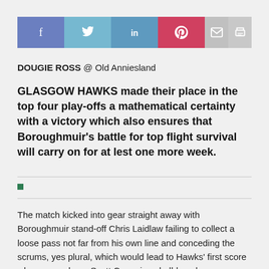[Figure (infographic): Social media share bar with icons for Facebook, Twitter, LinkedIn, Pinterest, Email, and Print]
DOUGIE ROSS @ Old Anniesland
GLASGOW HAWKS made their place in the top four play-offs a mathematical certainty with a victory which also ensures that Boroughmuir’s battle for top flight survival will carry on for at lest one more week.
The match kicked into gear straight away with Boroughmuir stand-off Chris Laidlaw failing to collect a loose pass not far from his own line and conceding the scrums, yes plural, which would lead to Hawks’ first score when second-row Scott Cummings bulldozed over.